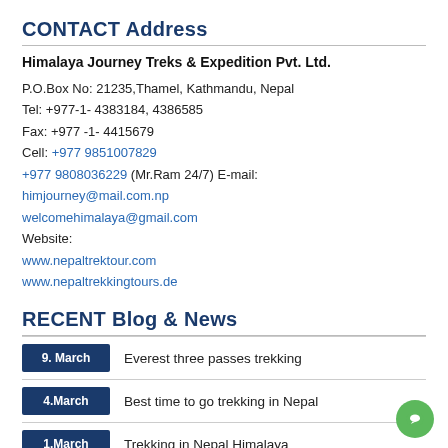CONTACT Address
Himalaya Journey Treks & Expedition Pvt. Ltd.
P.O.Box No: 21235,Thamel, Kathmandu, Nepal
Tel: +977-1- 4383184, 4386585
Fax: +977 -1- 4415679
Cell: +977 9851007829
+977 9808036229 (Mr.Ram 24/7) E-mail:
himjourney@mail.com.np
welcomehimalaya@gmail.com
Website:
www.nepaltrektour.com
www.nepaltrekkingtours.de
RECENT Blog & News
9. March  Everest three passes trekking
4.March  Best time to go trekking in Nepal
1.March  Trekking in Nepal Himalaya